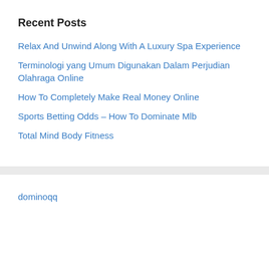Recent Posts
Relax And Unwind Along With A Luxury Spa Experience
Terminologi yang Umum Digunakan Dalam Perjudian Olahraga Online
How To Completely Make Real Money Online
Sports Betting Odds – How To Dominate Mlb
Total Mind Body Fitness
dominoqq